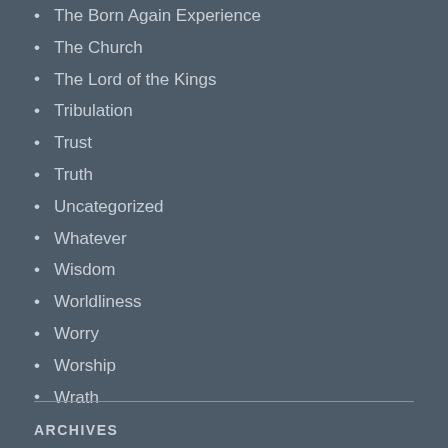The Born Again Experience
The Church
The Lord of the Kings
Tribulation
Trust
Truth
Uncategorized
Whatever
Wisdom
Worldliness
Worry
Worship
Wrath
ARCHIVES